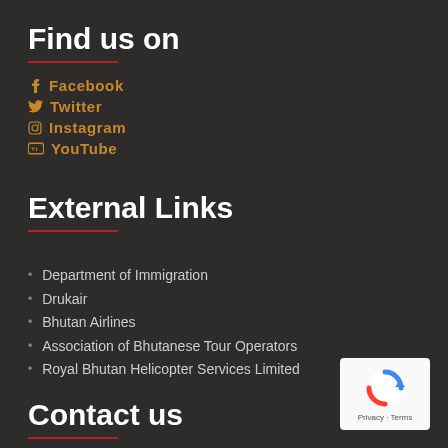Find us on
Facebook
Twitter
Instagram
YouTube
External Links
Department of Immigration
Drukair
Bhutan Airlines
Association of Bhutanese Tour Operators
Royal Bhutan Helicopter Services Limited
Contact us
[Figure (logo): reCAPTCHA logo with Privacy and Terms text]